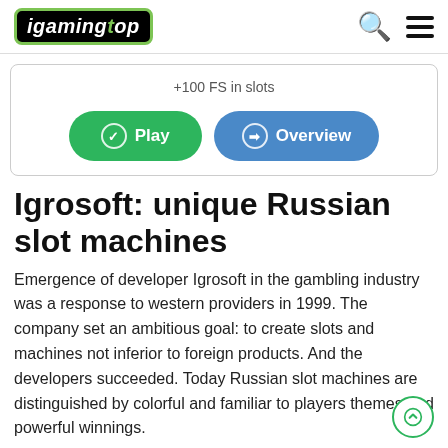igamingtop
+100 FS in slots
Play   Overview
Igrosoft: unique Russian slot machines
Emergence of developer Igrosoft in the gambling industry was a response to western providers in 1999. The company set an ambitious goal: to create slots and machines not inferior to foreign products. And the developers succeeded. Today Russian slot machines are distinguished by colorful and familiar to players themes and powerful winnings.
Igrosoft perfectly understands the desires of its users. And